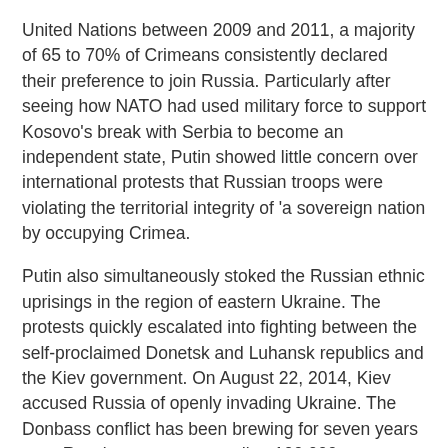United Nations between 2009 and 2011, a majority of 65 to 70% of Crimeans consistently declared their preference to join Russia. Particularly after seeing how NATO had used military force to support Kosovo's break with Serbia to become an independent state, Putin showed little concern over international protests that Russian troops were violating the territorial integrity of 'a sovereign nation by occupying Crimea.
Putin also simultaneously stoked the Russian ethnic uprisings in the region of eastern Ukraine. The protests quickly escalated into fighting between the self-proclaimed Donetsk and Luhansk republics and the Kiev government. On August 22, 2014, Kiev accused Russia of openly invading Ukraine. The Donbass conflict has been brewing for seven years now. Russian troops, exceeding 100,000, are currently massing along the border area of â€‹â€‹Donbass, raising fears that Russia is launching a large-scale invasion.
As George Kennan warned decades ago in his Long Telegram, Russia's "neurotic" worldview emanates from a "traditional and instinctive Russian sense of insecurity" about its borders. Particularly after Russia's invasion of Georgia, Washington and